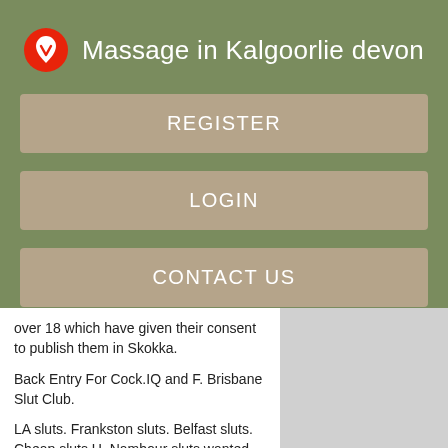Massage in Kalgoorlie devon
REGISTER
LOGIN
CONTACT US
over 18 which have given their consent to publish them in Skokka.
Back Entry For Cock.IQ and F. Brisbane Slut Club.
LA sluts. Frankston sluts. Belfast sluts. Cheap sluts U. Nambour sluts wanted. Hanover